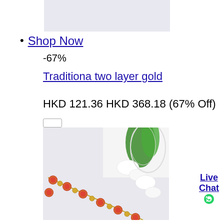[Figure (photo): Top portion of a product image, light lavender/grey background]
Shop Now
-67%
Traditiona two layer gold
HKD 121.36 HKD 368.18 (67% Off)
[Figure (photo): Product photo of a gold and red enamel beaded bracelet/necklace with floral white background]
Live Chat